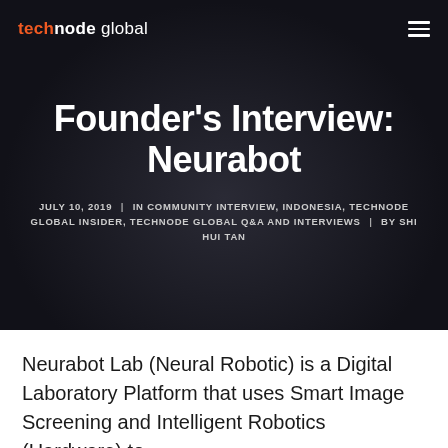technode global
Founder's Interview: Neurabot
JULY 10, 2019  |  IN COMMUNITY INTERVIEW, INDONESIA, TECHNODE GLOBAL INSIDER, TECHNODE GLOBAL Q&A AND INTERVIEWS  |  BY SHI HUI TAN
Neurabot Lab (Neural Robotic) is a Digital Laboratory Platform that uses Smart Image Screening and Intelligent Robotics (Hardware) to